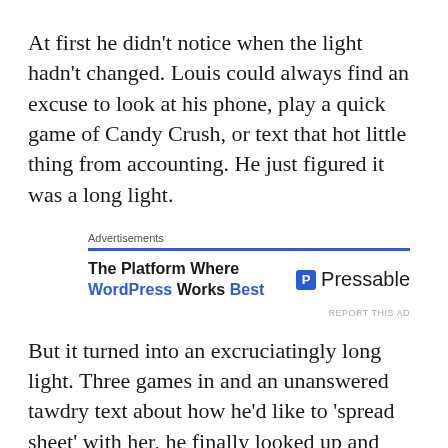At first he didn't notice when the light hadn't changed. Louis could always find an excuse to look at his phone, play a quick game of Candy Crush, or text that hot little thing from accounting. He just figured it was a long light.
[Figure (other): Advertisement box with blue top border. Label 'Advertisements'. Ad text: 'The Platform Where WordPress Works Best' with Pressable logo on the right. 'REPORT THIS AD' link below.]
But it turned into an excruciatingly long light. Three games in and an unanswered tawdry text about how he'd like to 'spread sheet' with her, he finally looked up and found that the light had not changed. In fact, nothing had changed. Louis put down his phone and looked over at the driver in the lane next to him. Sipping her coffee. He watched for a good thirty seconds. Still sipping. He looked up towards the